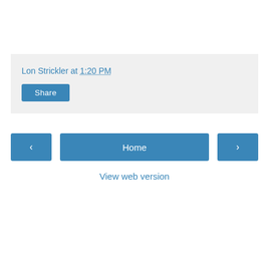Lon Strickler at 1:20 PM
Share
‹
Home
›
View web version